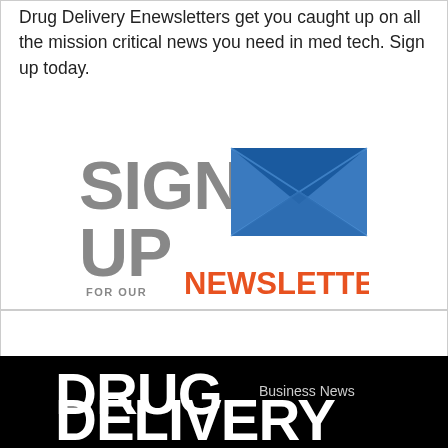Drug Delivery Enewsletters get you caught up on all the mission critical news you need in med tech. Sign up today.
[Figure (illustration): Sign Up For Our Newsletter promotional graphic with envelope image, grey bold SIGN UP text and orange NEWSLETTER text]
[Figure (logo): Drug Delivery Business News logo in white text on black background]